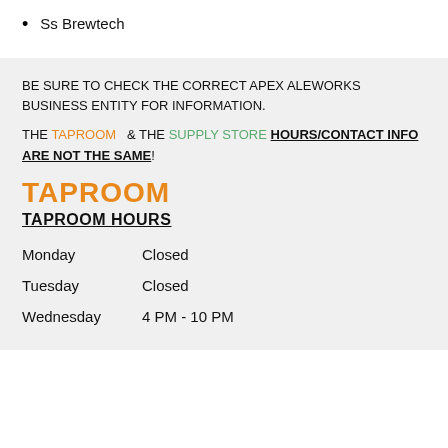Ss Brewtech
BE SURE TO CHECK THE CORRECT APEX ALEWORKS BUSINESS ENTITY FOR INFORMATION.
THE TAPROOM & THE SUPPLY STORE HOURS/CONTACT INFO ARE NOT THE SAME!
TAPROOM
TAPROOM HOURS
| Day | Hours |
| --- | --- |
| Monday | Closed |
| Tuesday | Closed |
| Wednesday | 4 PM - 10 PM |